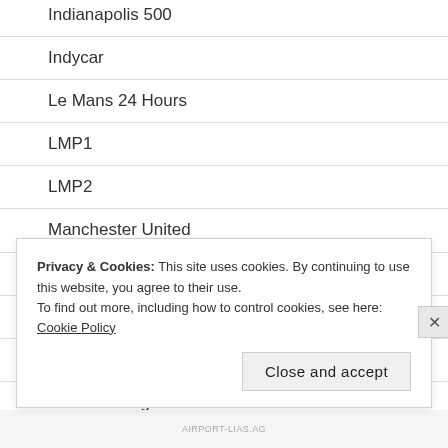Indianapolis 500
Indycar
Le Mans 24 Hours
LMP1
LMP2
Manchester United
Motorsport
Music
NFL
Premier League
Privacy & Cookies: This site uses cookies. By continuing to use this website, you agree to their use.
To find out more, including how to control cookies, see here: Cookie Policy
Close and accept